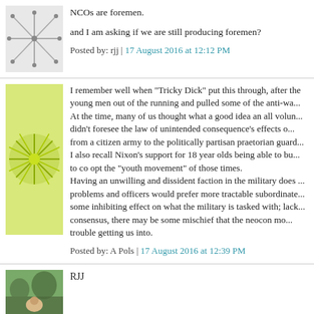[Figure (illustration): Abstract network/lines avatar icon in gray tones]
NCOs are foremen.

and I am asking if we are still producing foremen?
Posted by: rjj | 17 August 2016 at 12:12 PM
[Figure (illustration): Green/yellow starburst/geometric avatar icon]
I remember well when "Tricky Dick" put this through, after the young men out of the running and pulled some of the anti-wa... At the time, many of us thought what a good idea an all volun... didn't foresee the law of unintended consequence's effects o... from a citizen army to the politically partisan praetorian guard... I also recall Nixon's support for 18 year olds being able to bu... to co opt the "youth movement" of those times. Having an unwilling and dissident faction in the military does ... problems and officers would prefer more tractable subordinate... some inhibiting effect on what the military is tasked with; lack... consensus, there may be some mischief that the neocon mo... trouble getting us into.
Posted by: A Pols | 17 August 2016 at 12:39 PM
[Figure (photo): Small avatar photo of a person outdoors with mountains/trees]
RJJ